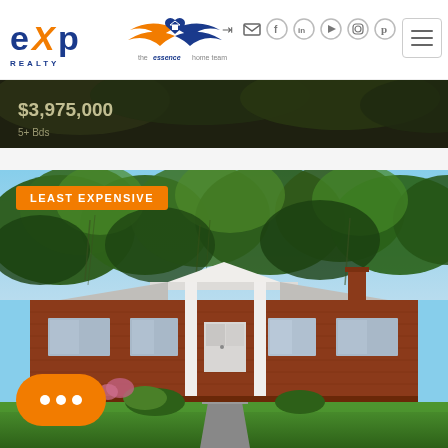[Figure (logo): eXp Realty logo with orange X and blue text, alongside the Essence Home Team logo]
[Figure (photo): Partial view of a home listing with price $3,975,000 visible, dark background]
[Figure (photo): Brick ranch-style house with green trees and lawn, labeled LEAST EXPENSIVE, with orange chat button overlay]